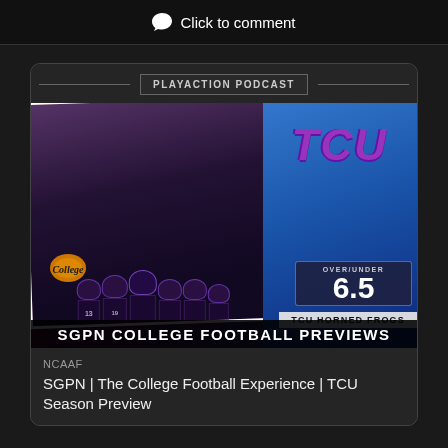Click to comment
PLAYACTION PODCAST
[Figure (photo): SGPN College Football Previews image showing TCU Horned Frogs football team in purple helmets and uniforms, with TCU logo on blue background, Over/Under 6.5, TCU HORNED FROGS banner, College Football logo, and SGPN COLLEGE FOOTBALL PREVIEWS title]
NCAAF
SGPN | The College Football Experience | TCU Season Preview